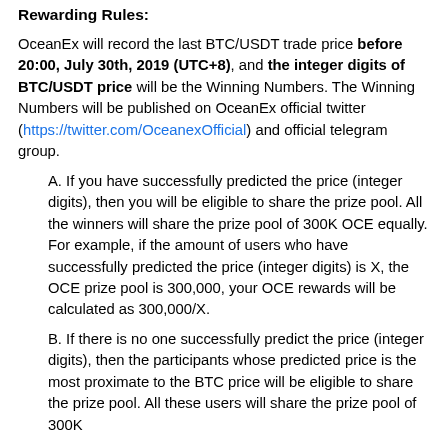Rewarding Rules:
OceanEx will record the last BTC/USDT trade price before 20:00, July 30th, 2019 (UTC+8), and the integer digits of BTC/USDT price will be the Winning Numbers. The Winning Numbers will be published on OceanEx official twitter (https://twitter.com/OceanexOfficial) and official telegram group.
A. If you have successfully predicted the price (integer digits), then you will be eligible to share the prize pool. All the winners will share the prize pool of 300K OCE equally. For example, if the amount of users who have successfully predicted the price (integer digits) is X, the OCE prize pool is 300,000, your OCE rewards will be calculated as 300,000/X.
B. If there is no one successfully predict the price (integer digits), then the participants whose predicted price is the most proximate to the BTC price will be eligible to share the prize pool. All these users will share the prize pool of 300K